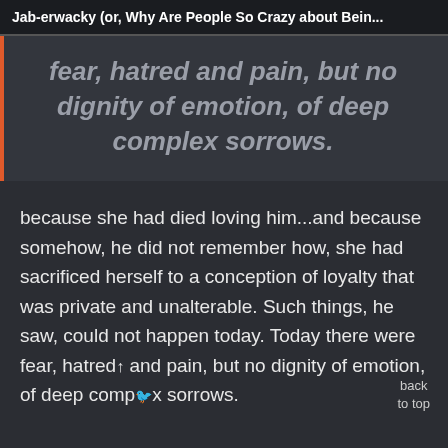Jab-erwacky (or, Why Are People So Crazy about Bein...
fear, hatred and pain, but no dignity of emotion, of deep complex sorrows.
because she had died loving him...and because somehow, he did not remember how, she had sacrificed herself to a conception of loyalty that was private and unalterable. Such things, he saw, could not happen today. Today there were fear, hatred and pain, but no dignity of emotion, of deep complex sorrows.
back to top